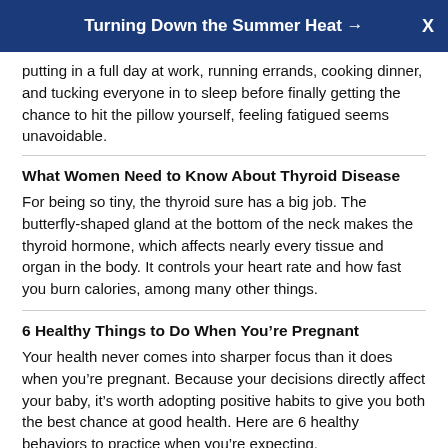Turning Down the Summer Heat →
putting in a full day at work, running errands, cooking dinner, and tucking everyone in to sleep before finally getting the chance to hit the pillow yourself, feeling fatigued seems unavoidable.
What Women Need to Know About Thyroid Disease
For being so tiny, the thyroid sure has a big job. The butterfly-shaped gland at the bottom of the neck makes the thyroid hormone, which affects nearly every tissue and organ in the body. It controls your heart rate and how fast you burn calories, among many other things.
6 Healthy Things to Do When You're Pregnant
Your health never comes into sharper focus than it does when you're pregnant. Because your decisions directly affect your baby, it's worth adopting positive habits to give you both the best chance at good health. Here are 6 healthy behaviors to practice when you're expecting.
5 Nonpregnancy Reasons to See Your OB-GYN
What do obstetrician-gynecologists (OB-GYNs) actually do? If you said that they provide pregnancy care and treat menstrual disorders,